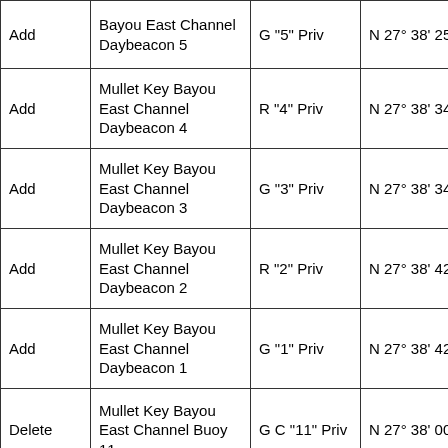| Add | Bayou East Channel Daybeacon 5 | G "5" Priv | N 27° 38' 25.658" | W ( |
| Add | Mullet Key Bayou East Channel Daybeacon 4 | R "4" Priv | N 27° 38' 34.395" | W ( |
| Add | Mullet Key Bayou East Channel Daybeacon 3 | G "3" Priv | N 27° 38' 34.011" | W ( |
| Add | Mullet Key Bayou East Channel Daybeacon 2 | R "2" Priv | N 27° 38' 42.032" | W ( |
| Add | Mullet Key Bayou East Channel Daybeacon 1 | G "1" Priv | N 27° 38' 42.357" | W ( |
| Delete | Mullet Key Bayou East Channel Buoy 11 | G C "11" Priv | N 27° 38' 00.063" | W ( |
|  | Mullet Key ... |  |  |  |